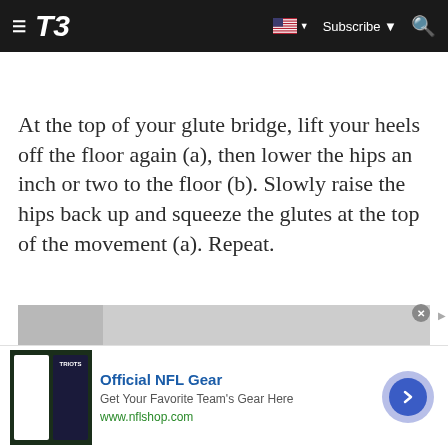T3 — Subscribe
At the top of your glute bridge, lift your heels off the floor again (a), then lower the hips an inch or two to the floor (b). Slowly raise the hips back up and squeeze the glutes at the top of the movement (a). Repeat.
[Figure (photo): Partial view of a fitness exercise photograph showing a person performing a glute bridge movement against a light gray background]
[Figure (photo): Advertisement banner showing NFL jerseys/apparel with text: Official NFL Gear, Get Your Favorite Team's Gear Here, www.nflshop.com]